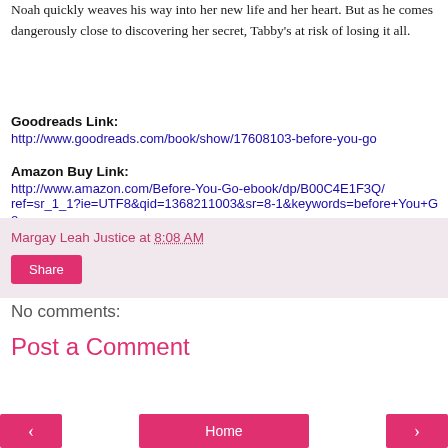Noah quickly weaves his way into her new life and her heart. But as he comes dangerously close to discovering her secret, Tabby's at risk of losing it all.
Goodreads Link:
http://www.goodreads.com/book/show/17608103-before-you-go
Amazon Buy Link:
http://www.amazon.com/Before-You-Go-ebook/dp/B00C4E1F3Q/ref=sr_1_1?ie=UTF8&qid=1368211003&sr=8-1&keywords=before+You+Go
Margay Leah Justice at 8:08 AM
Share
No comments:
Post a Comment
‹  Home  ›